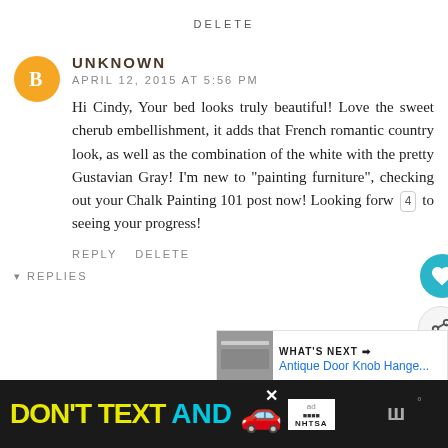DELETE
[Figure (illustration): Orange circle avatar with white blogger 'B' icon]
UNKNOWN
APRIL 12, 2015 AT 5:56 PM
Hi Cindy, Your bed looks truly beautiful! Love the sweet cherub embellishment, it adds that French romantic country look, as well as the combination of the white with the pretty Gustavian Gray! I'm new to "painting furniture", checking out your Chalk Painting 101 post now! Looking forw 4 to seeing your progress!
REPLY   DELETE
▾ REPLIES
[Figure (screenshot): Ad banner: DON'T TEXT AND with car emoji, NHTSA logo]
[Figure (screenshot): What's Next widget: Antique Door Knob Hange...]